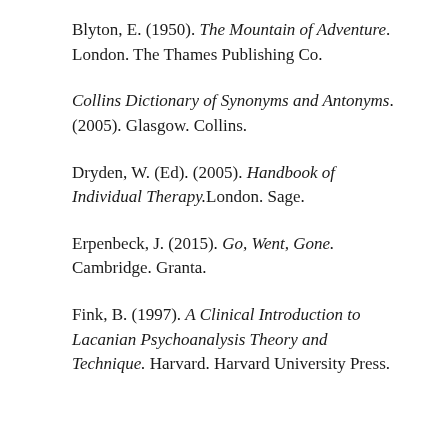Blyton, E. (1950). The Mountain of Adventure. London. The Thames Publishing Co.
Collins Dictionary of Synonyms and Antonyms. (2005). Glasgow. Collins.
Dryden, W. (Ed). (2005). Handbook of Individual Therapy.London. Sage.
Erpenbeck, J. (2015). Go, Went, Gone. Cambridge. Granta.
Fink, B. (1997). A Clinical Introduction to Lacanian Psychoanalysis Theory and Technique. Harvard. Harvard University Press.